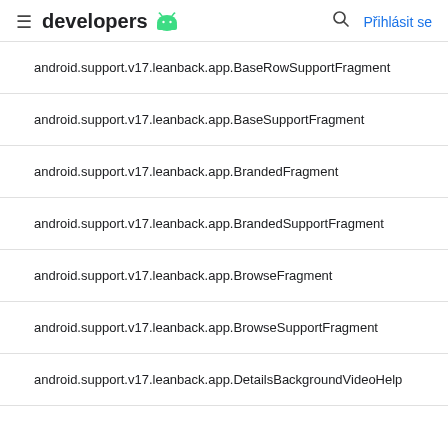≡ developers 🤖  🔍 Přihlásit se
android.support.v17.leanback.app.BaseRowSupportFragment
android.support.v17.leanback.app.BaseSupportFragment
android.support.v17.leanback.app.BrandedFragment
android.support.v17.leanback.app.BrandedSupportFragment
android.support.v17.leanback.app.BrowseFragment
android.support.v17.leanback.app.BrowseSupportFragment
android.support.v17.leanback.app.DetailsBackgroundVideoHelp